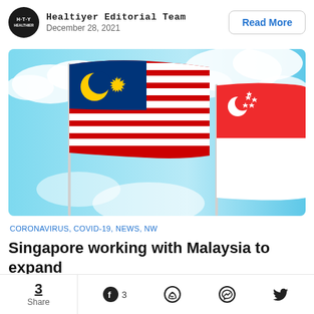Healtiyer Editorial Team
December 28, 2021
[Figure (photo): Malaysian flag and Singapore flag waving together against a blue sky with clouds]
CORONAVIRUS, COVID-19, NEWS, NW
Singapore working with Malaysia to expand
3 Share   3   [WhatsApp]   [Messenger]   [Twitter]